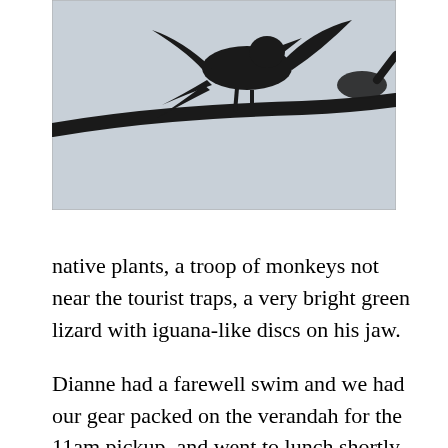[Figure (photo): Silhouette of a bird on a branch against a light grey sky, photographed from below.]
native plants, a troop of monkeys not near the tourist traps, a very bright green lizard with iguana-like discs on his jaw.
Dianne had a farewell swim and we had our gear packed on the verandah for the 11am pickup, and went to lunch shortly after. Towards the end of lunch, Charlene spotted a small sloth high up on a bare branch at the edge of the clearing, and everyone started watching it. Murray took a lot of telephone shots of it, which turned out disappointing because of the camouflaged colour of the sloth, almost matching the